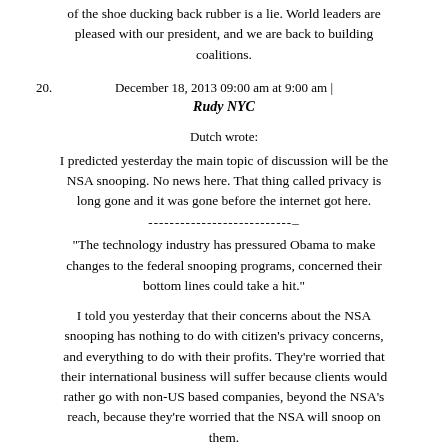of the shoe ducking back rubber is a lie. World leaders are pleased with our president, and we are back to building coalitions.
December 18, 2013 09:00 am at 9:00 am |
20.   Rudy NYC
Dutch wrote:
I predicted yesterday the main topic of discussion will be the NSA snooping. No news here. That thing called privacy is long gone and it was gone before the internet got here.
---------------------------
"The technology industry has pressured Obama to make changes to the federal snooping programs, concerned their bottom lines could take a hit."
I told you yesterday that their concerns about the NSA snooping has nothing to do with citizen's privacy concerns, and everything to do with their profits. They're worried that their international business will suffer because clients would rather go with non-US based companies, beyond the NSA's reach, because they're worried that the NSA will snoop on them.
December 18, 2013 09:00 am at 9:00 am |